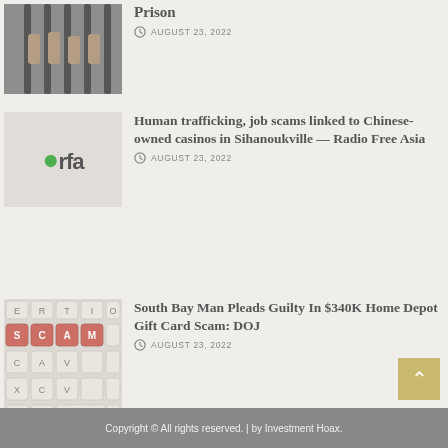[Figure (photo): Person gripping prison bars, dark image]
Prison
AUGUST 23, 2022
[Figure (logo): Radio Free Asia (rfa) logo with green dot]
Human trafficking, job scams linked to Chinese-owned casinos in Sihanoukville — Radio Free Asia
AUGUST 23, 2022
[Figure (photo): Keyboard with red SCAM keys]
South Bay Man Pleads Guilty In $340K Home Depot Gift Card Scam: DOJ
AUGUST 23, 2022
Copyright © All rights reserved. | by Investment Hoax.